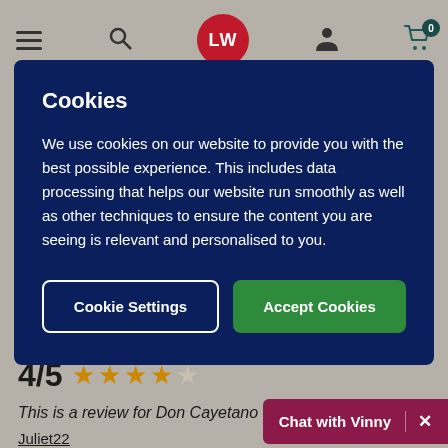[Figure (screenshot): Website navigation header with hamburger menu, search icon, LW logo (red circle), user icon, and shopping cart with badge showing 0]
Cookies
We use cookies on our website to provide you with the best possible experience. This includes data processing that helps our website run smoothly as well as other techniques to ensure the content you are seeing is relevant and personalised to you.
Cookie Settings | Accept Cookies
4/5
This is a review for Don Cayetano Merlot 2021
Juliet22
20th April 2022
Chat with Vinny